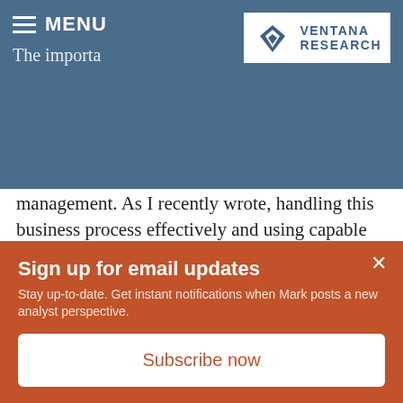MENU
[Figure (logo): Ventana Research logo with stylized V icon in blue and white]
The importance of product information management (PIM) has become clearer over the years and especially as it relates to supply chain management. As I recently wrote, handling this business process effectively and using capable software should be priorities for any organization in marketing and selling its products and services but also interconnecting the distributed supply chain. Our research on product information management can help organizations save time and resources in
Sign up for email updates
Stay up-to-date. Get instant notifications when Mark posts a new analyst perspective.
Subscribe now